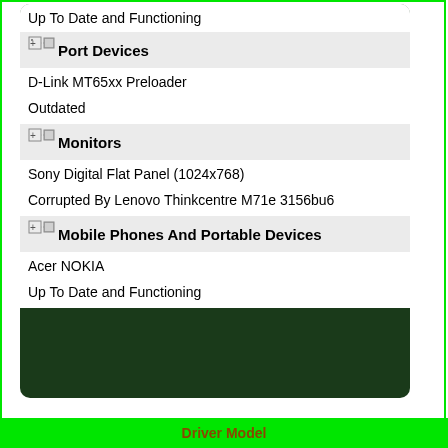Up To Date and Functioning
Port Devices
D-Link MT65xx Preloader
Outdated
Monitors
Sony Digital Flat Panel (1024x768)
Corrupted By Lenovo Thinkcentre M71e 3156bu6
Mobile Phones And Portable Devices
Acer NOKIA
Up To Date and Functioning
Driver Model